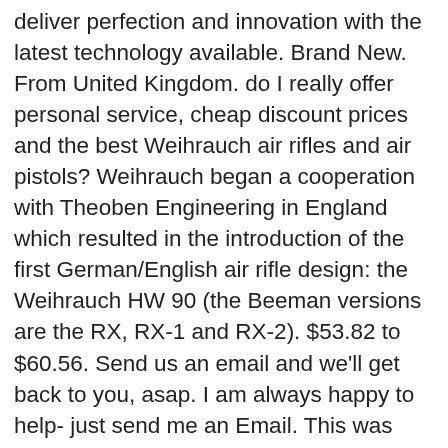deliver perfection and innovation with the latest technology available. Brand New. From United Kingdom. do I really offer personal service, cheap discount prices and the best Weihrauch air rifles and air pistols? Weihrauch began a cooperation with Theoben Engineering in England which resulted in the introduction of the first German/English air rifle design: the Weihrauch HW 90 (the Beeman versions are the RX, RX-1 and RX-2). $53.82 to $60.56. Send us an email and we'll get back to you, asap. I am always happy to help- just send me an Email. This was the first Weihrauch rifle using the patented Theoben gas-spring system. Fill probe has male BSPP threads on it. The HW97 air rifle is a superbly accurate, fixed barrel air rifle from the worlds' finest, as well as one of the oldest, German airgun manufacturers. This is a non-regulated model. The HW97K is related to one of the first - and finest - underlever field target rifles ever made. Get the best deals for weihrauch hw97k at eBay.com. Beeman Precision Airguns launched a large number of new products at the 2019 SHOT Show. Here you will find a